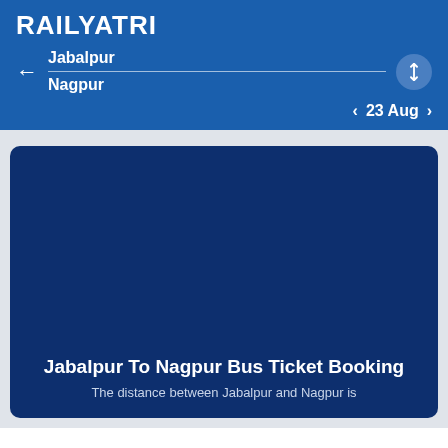RAILYATRI
Jabalpur
Nagpur
23 Aug
Jabalpur To Nagpur Bus Ticket Booking
The distance between Jabalpur and Nagpur is